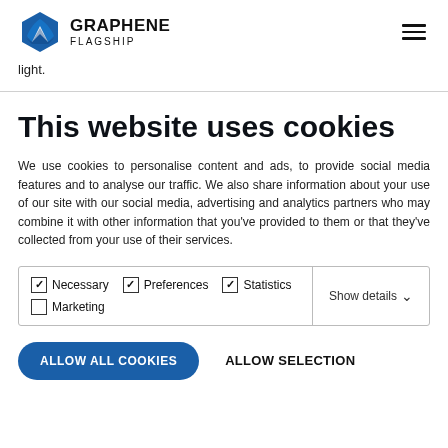GRAPHENE FLAGSHIP
light.
This website uses cookies
We use cookies to personalise content and ads, to provide social media features and to analyse our traffic. We also share information about your use of our site with our social media, advertising and analytics partners who may combine it with other information that you've provided to them or that they've collected from your use of their services.
Necessary (checked), Preferences (checked), Statistics (checked), Marketing (unchecked), Show details
ALLOW ALL COOKIES   ALLOW SELECTION